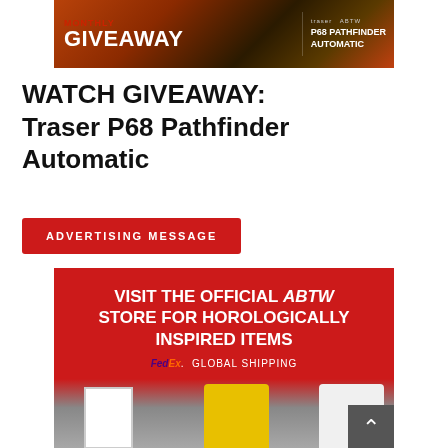[Figure (photo): Monthly Giveaway banner ad for Traser P68 Pathfinder Automatic watch, dark orange/brown background with red and white text]
WATCH GIVEAWAY: Traser P68 Pathfinder Automatic
[Figure (other): Red button/banner reading ADVERTISING MESSAGE]
[Figure (photo): ABTW store advertisement on red background: VISIT THE OFFICIAL ABTW STORE FOR HOROLOGICALLY INSPIRED ITEMS, FedEx Global Shipping, with product images including t-shirts and a framed watch print]